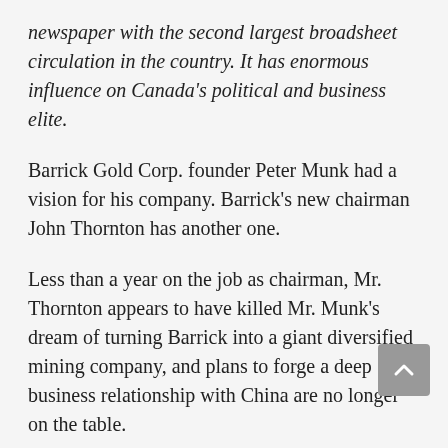newspaper with the second largest broadsheet circulation in the country. It has enormous influence on Canada's political and business elite.
Barrick Gold Corp. founder Peter Munk had a vision for his company. Barrick's new chairman John Thornton has another one.
Less than a year on the job as chairman, Mr. Thornton appears to have killed Mr. Munk's dream of turning Barrick into a giant diversified mining company, and plans to forge a deep business relationship with China are no longer on the table.
Instead, Mr. Thornton wants the world's